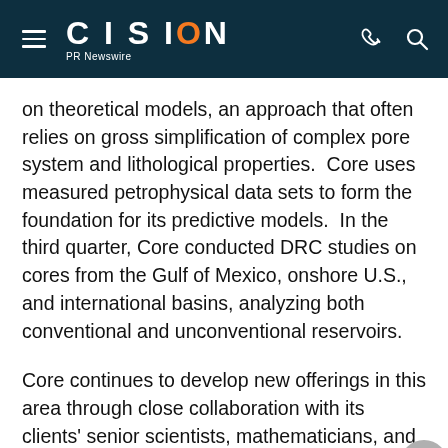CISION PR Newswire
on theoretical models, an approach that often relies on gross simplification of complex pore system and lithological properties.  Core uses measured petrophysical data sets to form the foundation for its predictive models.  In the third quarter, Core conducted DRC studies on cores from the Gulf of Mexico, onshore U.S., and international basins, analyzing both conventional and unconventional reservoirs.
Core continues to develop new offerings in this area through close collaboration with its clients' senior scientists, mathematicians, and engineers.  Core's CT-